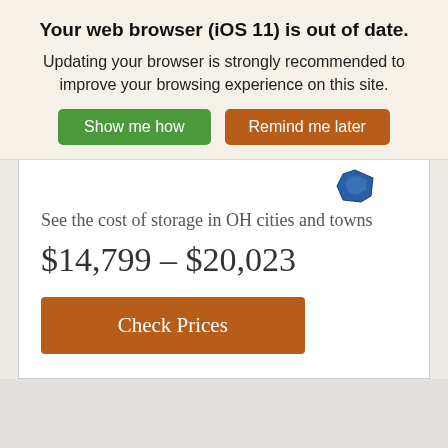Your web browser (iOS 11) is out of date. Updating your browser is strongly recommended to improve your browsing experience on this site.
Show me how
Remind me later
See the cost of storage in OH cities and towns
$14,799 – $20,023
Check Prices